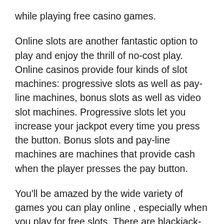while playing free casino games.
Online slots are another fantastic option to play and enjoy the thrill of no-cost play. Online casinos provide four kinds of slot machines: progressive slots as well as pay-line machines, bonus slots as well as video slot machines. Progressive slots let you increase your jackpot every time you press the button. Bonus slots and pay-line machines are machines that provide cash when the player presses the pay button.
You'll be amazed by the wide variety of games you can play online , especially when you play for free slots. There are blackjack-related games as well as craps, roulette and baccarat. There are also games like keno and slot machines. You can choose a game that suits your preferences while playing online casino